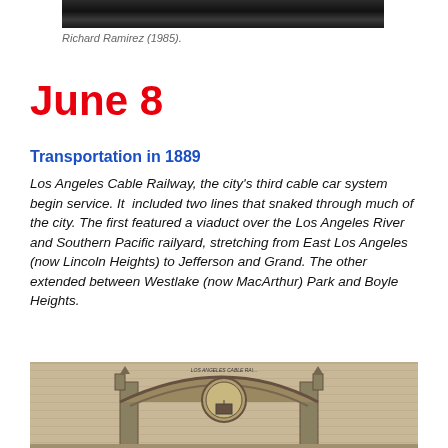[Figure (photo): Partial black-and-white photograph at top of page, cropped showing dark figures]
Richard Ramirez (1985).
June 8
Transportation in 1889
Los Angeles Cable Railway, the city's third cable car system begin service. It  included two lines that snaked through much of the city. The first featured a viaduct over the Los Angeles River and Southern Pacific railyard, stretching from East Los Angeles (now Lincoln Heights) to Jefferson and Grand. The other extended between Westlake (now MacArthur) Park and Boyle Heights.
[Figure (illustration): Black and white engraving/illustration of the Los Angeles Cable Railway Co. building entrance with an archway]